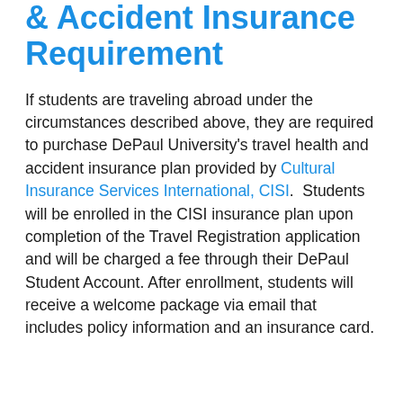& Accident Insurance Requirement
If students are traveling abroad under the circumstances described above, they are required to purchase DePaul University's travel health and accident insurance plan provided by Cultural Insurance Services International, CISI.  Students will be enrolled in the CISI insurance plan upon completion of the Travel Registration application and will be charged a fee through their DePaul Student Account. After enrollment, students will receive a welcome package via email that includes policy information and an insurance card.